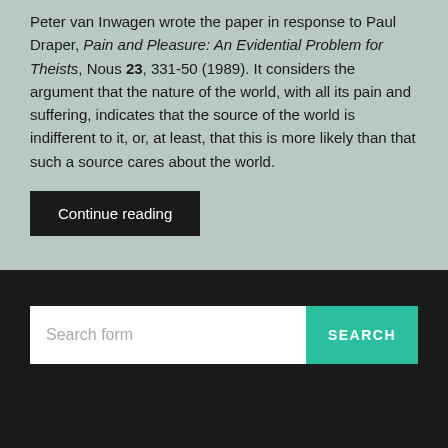Peter van Inwagen wrote the paper in response to Paul Draper, Pain and Pleasure: An Evidential Problem for Theists, Nous 23, 331-50 (1989). It considers the argument that the nature of the world, with all its pain and suffering, indicates that the source of the world is indifferent to it, or, at least, that this is more likely than that such a source cares about the world.
Continue reading